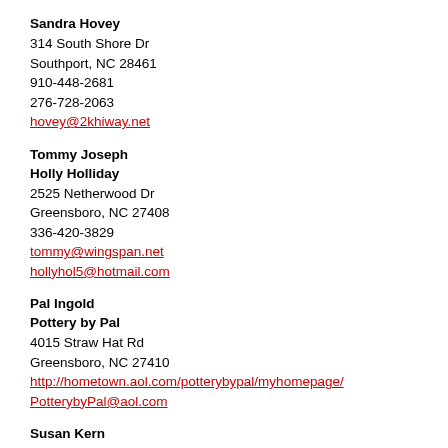336-629-3677
dholland@asheboro.com
Sandra Hovey
314 South Shore Dr
Southport, NC 28461
910-448-2681
276-728-2063
hovey@2khiway.net
Tommy Joseph
Holly Holliday
2525 Netherwood Dr
Greensboro, NC 27408
336-420-3829
tommy@wingspan.net
hollyhol5@hotmail.com
Pal Ingold
Pottery by Pal
4015 Straw Hat Rd
Greensboro, NC 27410
http://hometown.aol.com/potterybypal/myhomepage/
PotterybyPal@aol.com
Susan Kern
108 Falcon Lane
Mebane, NC 27302
919-304-2086
kernsusan@hotmail.com